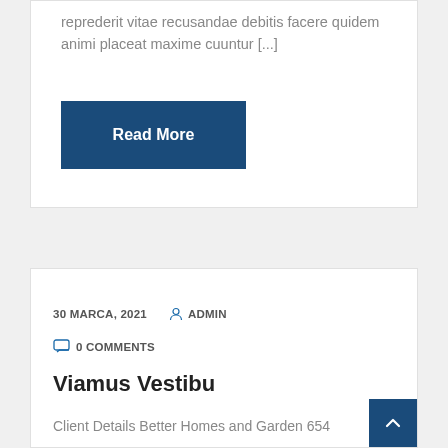reprederit vitae recusandae debitis facere quidem animi placeat maxime cuuntur [...]
Read More
30 MARCA, 2021   ADMIN   0 COMMENTS
Viamus Vestibu
Client Details Better Homes and Garden 654